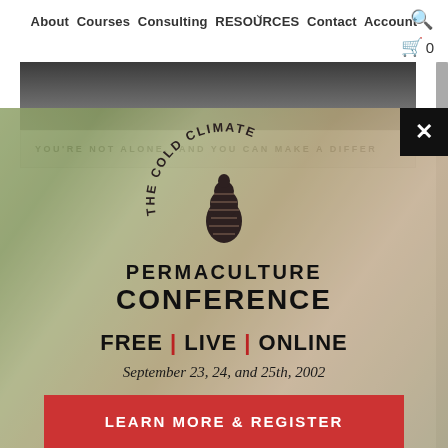About Courses Consulting RESOURCES Contact Account
[Figure (photo): Partial hero banner image showing people outdoors]
YOU'RE NOT ALONE. AND YOU CAN MAKE A DIFFER
[Figure (infographic): The Cold Climate Permaculture Conference modal popup with pine cone logo, text: PERMACULTURE CONFERENCE, FREE | LIVE | ONLINE, September 23, 24, and 25th, 2002, and a red LEARN MORE & REGISTER button]